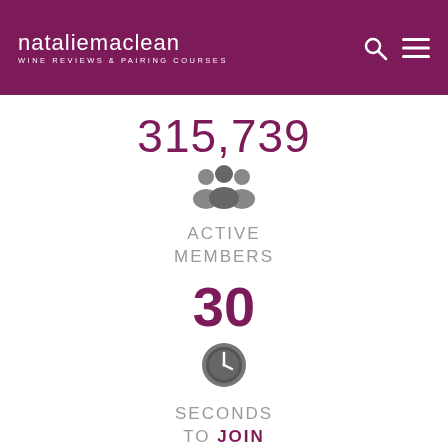nataliemaclean WINE REVIEWS & PAIRING COURSES
315,739
[Figure (infographic): Group of people icon representing active members]
ACTIVE MEMBERS
30
[Figure (infographic): Clock icon representing seconds to join]
SECONDS TO JOIN